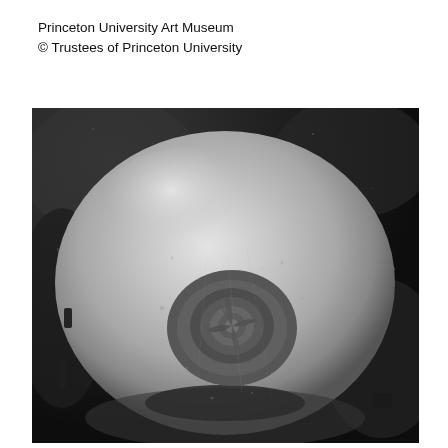Princeton University Art Museum
© Trustees of Princeton University
[Figure (photo): Black and white photograph showing a top-down view of a round bowl or vessel with a textured, granular surface and a central floral or spiral motif, set against a dark background.]